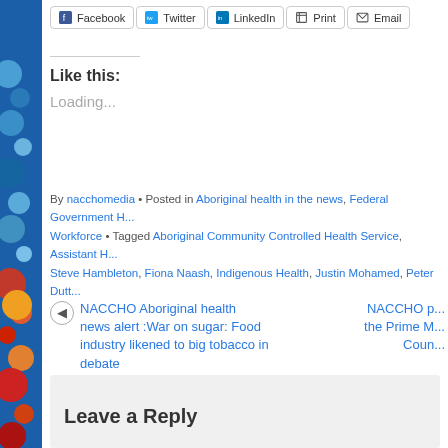[Figure (other): Social share buttons: Facebook, Twitter, LinkedIn, Print, Email]
Like this:
Loading...
By nacchomedia • Posted in Aboriginal health in the news, Federal Government Health Workforce • Tagged Aboriginal Community Controlled Health Service, Assistant H... Steve Hambleton, Fiona Naash, Indigenous Health, Justin Mohamed, Peter Dutt...
NACCHO Aboriginal health news alert :War on sugar: Food industry likened to big tobacco in debate
NACCHO p... the Prime M... Coun...
Leave a Reply